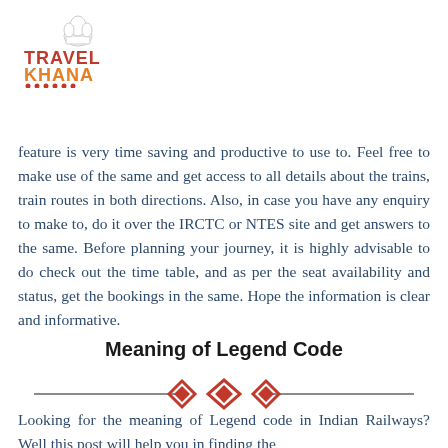[Figure (logo): Travel Khana logo with chef hat icon, red and orange text]
feature is very time saving and productive to use to. Feel free to make use of the same and get access to all details about the trains, train routes in both directions. Also, in case you have any enquiry to make to, do it over the IRCTC or NTES site and get answers to the same. Before planning your journey, it is highly advisable to do check out the time table, and as per the seat availability and status, get the bookings in the same. Hope the information is clear and informative.
Meaning of Legend Code
[Figure (illustration): Decorative divider with red diamond shapes and horizontal lines]
Looking for the meaning of Legend code in Indian Railways? Well this post will help you in finding the